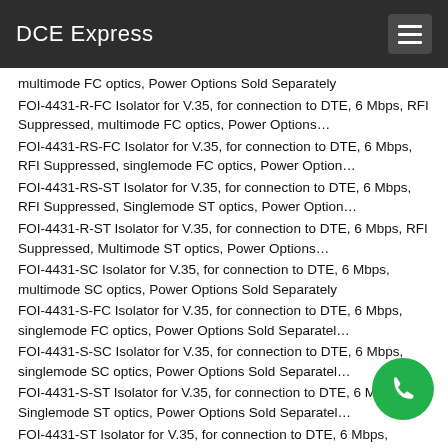DCE Express
multimode FC optics, Power Options Sold Separately
FOI-4431-R-FC Isolator for V.35, for connection to DTE, 6 Mbps, RFI Suppressed, multimode FC optics, Power Options…
FOI-4431-RS-FC Isolator for V.35, for connection to DTE, 6 Mbps, RFI Suppressed, singlemode FC optics, Power Option…
FOI-4431-RS-ST Isolator for V.35, for connection to DTE, 6 Mbps, RFI Suppressed, Singlemode ST optics, Power Option…
FOI-4431-R-ST Isolator for V.35, for connection to DTE, 6 Mbps, RFI Suppressed, Multimode ST optics, Power Options…
FOI-4431-SC Isolator for V.35, for connection to DTE, 6 Mbps, multimode SC optics, Power Options Sold Separately
FOI-4431-S-FC Isolator for V.35, for connection to DTE, 6 Mbps, singlemode FC optics, Power Options Sold Separatel…
FOI-4431-S-SC Isolator for V.35, for connection to DTE, 6 Mbps, singlemode SC optics, Power Options Sold Separatel…
FOI-4431-S-ST Isolator for V.35, for connection to DTE, 6 Mbps, Singlemode ST optics, Power Options Sold Separatel…
FOI-4431-ST Isolator for V.35, for connection to DTE, 6 Mbps, Multimode ST optics, Power Options Sold Separately
FOI-4451-FC Isolator for EIA-530/RS-422, for connection to DCE,